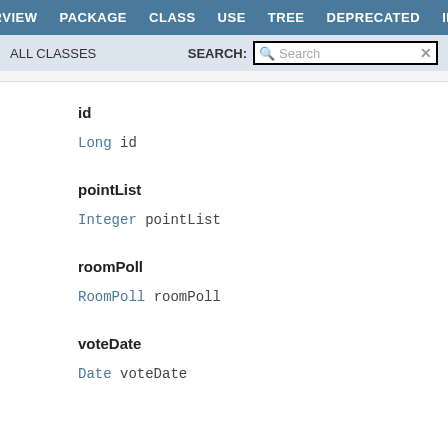OVERVIEW  PACKAGE  CLASS  USE  TREE  DEPRECATED  INDEX
ALL CLASSES   SEARCH:  Search
id
Long id
pointList
Integer pointList
roomPoll
RoomPoll roomPoll
voteDate
Date voteDate